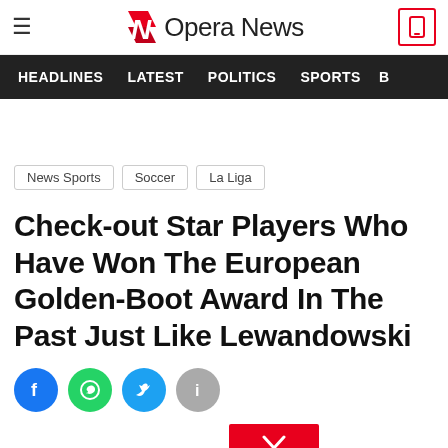Opera News
HEADLINES  LATEST  POLITICS  SPORTS
News Sports
Soccer
La Liga
Check-out Star Players Who Have Won The European Golden-Boot Award In The Past Just Like Lewandowski